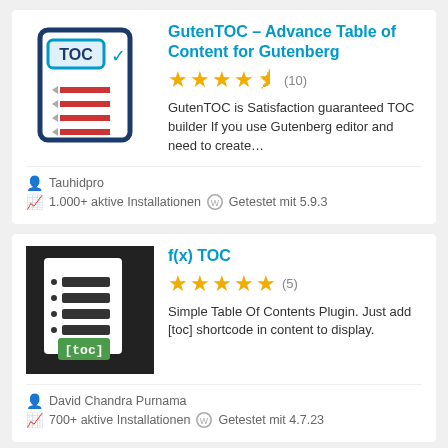GutenTOC – Advance Table of Content for Gutenberg
★★★★½ (10)
GutenTOC is Satisfaction guaranteed TOC builder If you use Gutenberg editor and need to create...
Tauhidpro
1.000+ aktive Installationen  Getestet mit 5.9.3
f(x) TOC
★★★★★ (5)
Simple Table Of Contents Plugin. Just add [toc] shortcode in content to display.
David Chandra Purnama
700+ aktive Installationen  Getestet mit 4.7.23